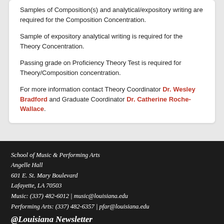Samples of Composition(s) and analytical/expository writing are required for the Composition Concentration.
Sample of expository analytical writing is required for the Theory Concentration.
Passing grade on Proficiency Theory Test is required for Theory/Composition concentration.
For more information contact Theory Coordinator Dr. Wesley Bradford and Graduate Coordinator Dr. Catherine Roche-Wallace.
School of Music & Performing Arts
Angelle Hall
601 E. St. Mary Boulevard
Lafayette, LA 70503
Music: (337) 482-6012 | music@louisiana.edu
Performing Arts: (337) 482-6357 | pfar@louisiana.edu
@Louisiana Newsletter